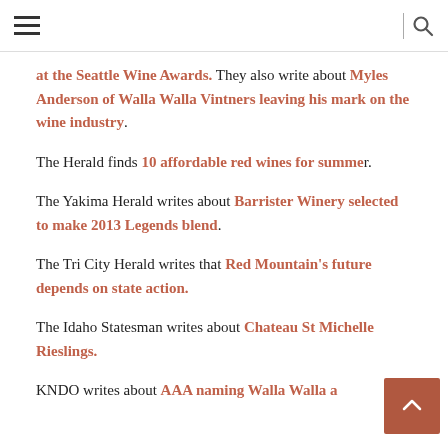Navigation bar with hamburger menu and search icon
at the Seattle Wine Awards. They also write about Myles Anderson of Walla Walla Vintners leaving his mark on the wine industry.
The Herald finds 10 affordable red wines for summer.
The Yakima Herald writes about Barrister Winery selected to make 2013 Legends blend.
The Tri City Herald writes that Red Mountain's future depends on state action.
The Idaho Statesman writes about Chateau St Michelle Rieslings.
KNDO writes about AAA naming Walla Walla a